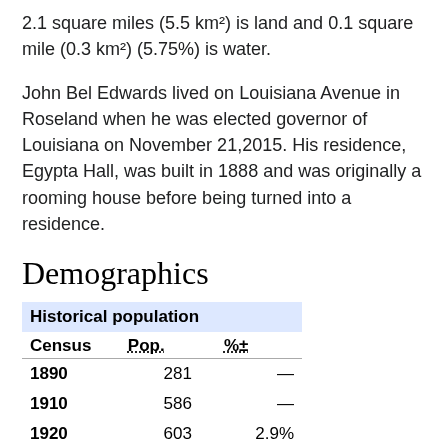2.1 square miles (5.5 km²) is land and 0.1 square mile (0.3 km²) (5.75%) is water.
John Bel Edwards lived on Louisiana Avenue in Roseland when he was elected governor of Louisiana on November 21,2015. His residence, Egypta Hall, was built in 1888 and was originally a rooming house before being turned into a residence.
Demographics
| Census | Pop. | %± |
| --- | --- | --- |
| 1890 | 281 | — |
| 1910 | 586 | — |
| 1920 | 603 | 2.9% |
| 1930 | 1,139 | 88.9% |